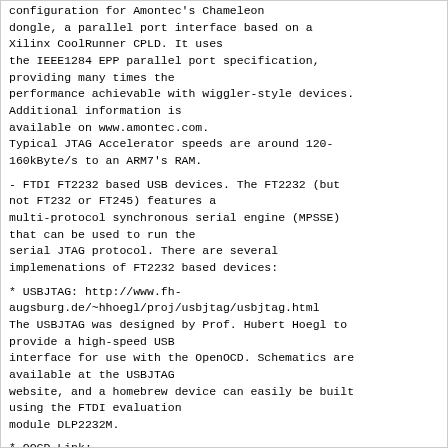configuration for Amontec's Chameleon
dongle, a parallel port interface based on a
Xilinx CoolRunner CPLD. It uses
the IEEE1284 EPP parallel port specification,
providing many times the
performance achievable with wiggler-style devices.
Additional information is
available on www.amontec.com.
Typical JTAG Accelerator speeds are around 120-
160kByte/s to an ARM7's RAM.
- FTDI FT2232 based USB devices. The FT2232 (but
not FT232 or FT245) features a
multi-protocol synchronous serial engine (MPSSE)
that can be used to run the
serial JTAG protocol. There are several
implemenations of FT2232 based devices:
* USBJTAG: http://www.fh-
augsburg.de/~hhoegl/proj/usbjtag/usbjtag.html
The USBJTAG was designed by Prof. Hubert Hoegl to
provide a high-speed USB
interface for use with the OpenOCD. Schematics are
available at the USBJTAG
website, and a homebrew device can easily be built
using the FTDI evaluation
module DLP2232M.
* OOCD-Link:
http://www.joernonline.de/dw/doku.php?
id=en:projects:oocdlink
Similar to the USBJTAG, this design comes with
free schematics, too.